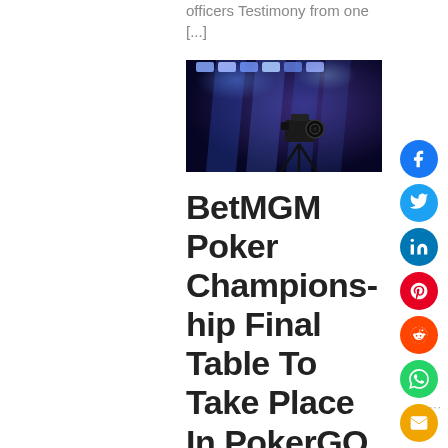officers Testimony from one [...]
[Figure (photo): Video camera on tripod with blue stage lighting in background]
BetMGM Poker Championship Final Table To Take Place In PokerGO